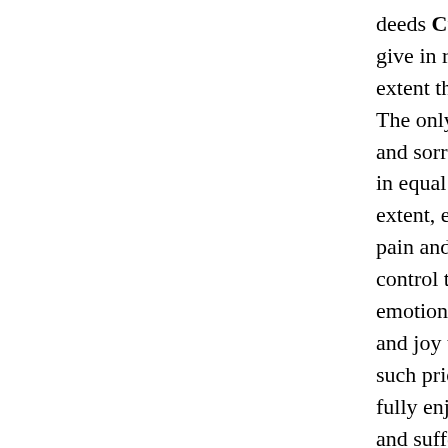deeds Curam Software CS0-006 give in return, so exactly the same extent that noble act unanimously. The only compensation for her pain and sorrow bitterness can give, so also in equal degree with noble behavior extent, exactly the same degree of pain and grief to adapt. Degree of self control to overcome our natural emotional required higher the pride and joy thus obtained also greater and such pride and joy PPT-201 will never fully enjoy their people unhappy. Pain and suffering will never come replete with self satisfied feeling of heart